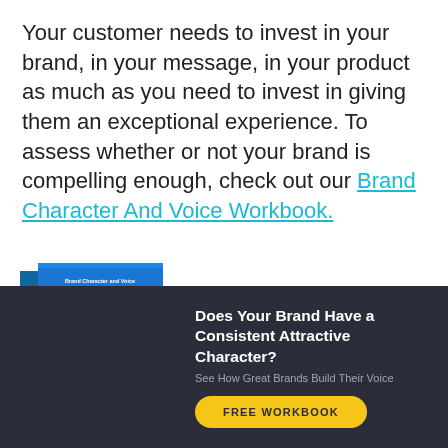Your customer needs to invest in your brand, in your message, in your product as much as you need to invest in giving them an exceptional experience. To assess whether or not your brand is compelling enough, check out our Brand Character And Voice Workbook.
[Figure (infographic): Promotional banner with dark navy background showing a book cover for 'Brand Character and Voice Workbook' on the left, with text 'Does Your Brand Have a Consistent Attractive Character?', subtitle 'See How Great Brands Build Their Voice', and a yellow oval button labeled 'FREE WORKBOOK'.]